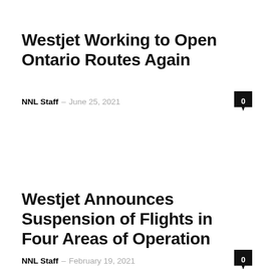Westjet Working to Open Ontario Routes Again
NNL Staff – June 25, 2021
Westjet Announces Suspension of Flights in Four Areas of Operation
NNL Staff – February 19, 2021